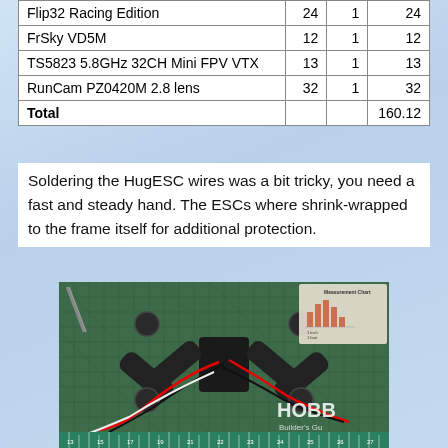|  |  |  |  |
| --- | --- | --- | --- |
| Flip32 Racing Edition | 24 | 1 | 24 |
| FrSky VD5M | 12 | 1 | 12 |
| TS5823 5.8GHz 32CH Mini FPV VTX | 13 | 1 | 13 |
| RunCam PZ0420M 2.8 lens | 32 | 1 | 32 |
| Total |  |  | 160.12 |
Soldering the HugESC wires was a bit tricky, you need a fast and steady hand. The ESCs where shrink-wrapped to the frame itself for additional protection.
[Figure (photo): Photo of a quadcopter drone frame with ESCs shrink-wrapped to the arms, placed on a green cutting mat with a ruler at the bottom. Red and black wires are visible. A Hobbico Builder's Guide measurement chart is visible in the top-right corner.]